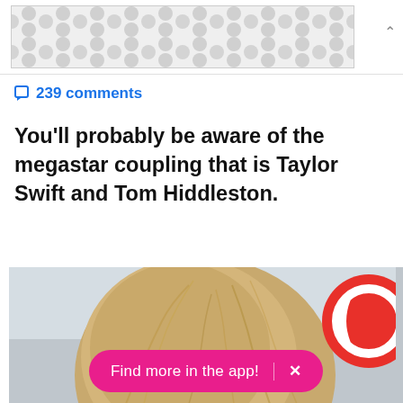[Figure (other): Advertisement banner with repeating grey geometric hourglass/bowtie pattern on light background]
□ 239 comments
You'll probably be aware of the megastar coupling that is Taylor Swift and Tom Hiddleston.
[Figure (photo): Close-up photo of a blonde woman (Taylor Swift) from above the forehead, light blue/grey background, partial red circular logo visible on right side. Pink 'Find more in the app!' button overlay at bottom.]